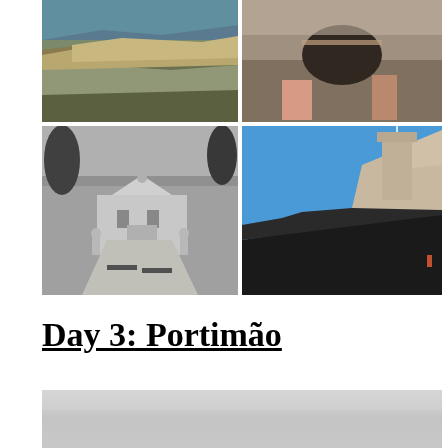[Figure (photo): Four travel photos arranged in a 2x2 grid: top-left shows rocky coastal cliffs with green grass; top-right shows hands holding a dark object on a table; bottom-left shows a black and white photo of an ornate castle or palace with a garden path and benches; bottom-right shows a castle wall/battlements against a bright blue sky with rocky landscape.]
Day 3: Portimão
[Figure (photo): Partial view of a grey/silver landscape or seascape photo, mostly showing a light grey gradient sky or water surface.]